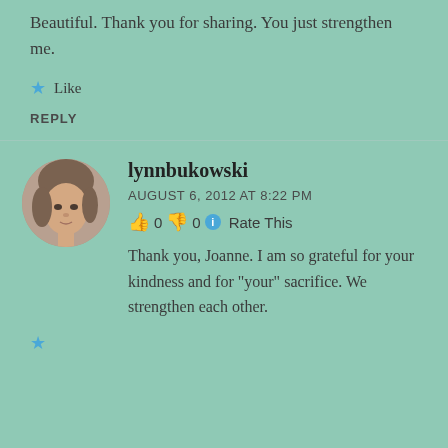Beautiful. Thank you for sharing. You just strengthen me.
★ Like
REPLY
[Figure (photo): Circular avatar photo of lynnbukowski, a woman with medium-length hair]
lynnbukowski
AUGUST 6, 2012 AT 8:22 PM
👍 0 👎 0 ℹ Rate This
Thank you, Joanne. I am so grateful for your kindness and for "your" sacrifice. We strengthen each other.